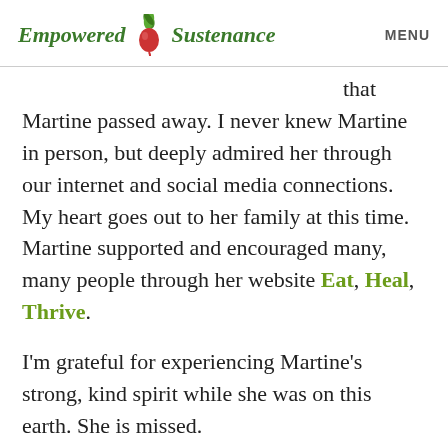Empowered Sustenance   MENU
that Martine passed away. I never knew Martine in person, but deeply admired her through our internet and social media connections. My heart goes out to her family at this time. Martine supported and encouraged many, many people through her website Eat, Heal, Thrive.
I'm grateful for experiencing Martine's strong, kind spirit while she was on this earth. She is missed.